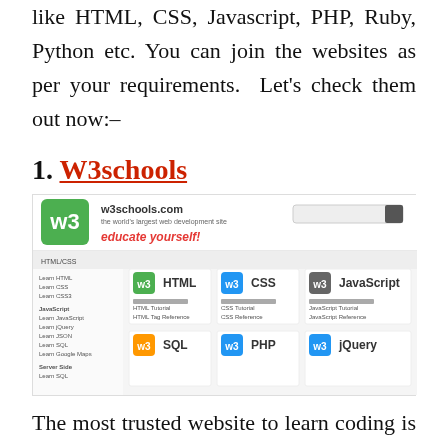like HTML, CSS, Javascript, PHP, Ruby, Python etc. You can join the websites as per your requirements. Let's check them out now:–
1. W3schools
[Figure (screenshot): Screenshot of the W3schools.com homepage showing the w3 green logo, the tagline 'educate yourself!', and subject tiles for HTML, CSS, JavaScript, SQL, PHP, and jQuery each with a colored w3 icon.]
The most trusted website to learn coding is w3schools.